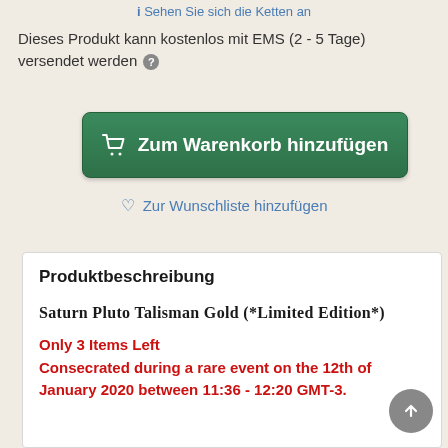ℹ Sehen Sie sich die Ketten an
Dieses Produkt kann kostenlos mit EMS (2 - 5 Tage) versendet werden ?
🛒 Zum Warenkorb hinzufügen
♡ Zur Wunschliste hinzufügen
Produktbeschreibung
Saturn Pluto Talisman Gold (*Limited Edition*)
Only 3 Items Left
Consecrated during a rare event on the 12th of January 2020 between 11:36 - 12:20 GMT-3.